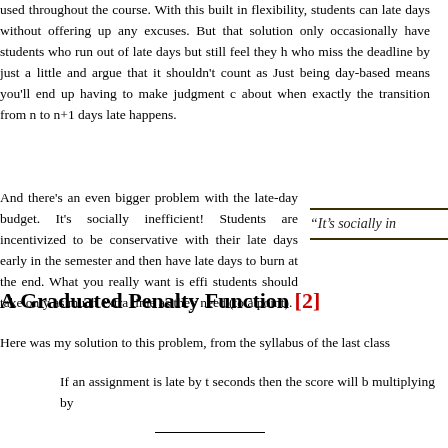used throughout the course. With this built in flexibility, students can use late days without offering up any excuses. But that solution only occasionally have students who run out of late days but still feel they have who miss the deadline by just a little and argue that it shouldn't count as Just being day-based means you'll end up having to make judgment calls about when exactly the transition from n to n+1 days late happens.
And there's an even bigger problem with the late-day budget. It's socially inefficient! Students are incentivized to be conservative with their late days early in the semester and then have late days to burn at the end. What you really want is efficient: students should take only as much extra time as they need (to a point).
“It’s socially in
A Graduated Penalty Function [2]
Here was my solution to this problem, from the syllabus of the last class
If an assignment is late by t seconds then the score will be multiplying by